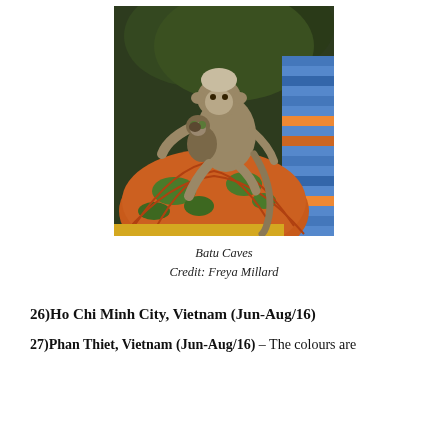[Figure (photo): A monkey holding a baby monkey, sitting on top of a large decorative orange and green painted sculpture/dome at Batu Caves. Colourful painted steps visible in background.]
Batu Caves
Credit: Freya Millard
26)Ho Chi Minh City, Vietnam (Jun-Aug/16)
27)Phan Thiet, Vietnam (Jun-Aug/16) – The colours are